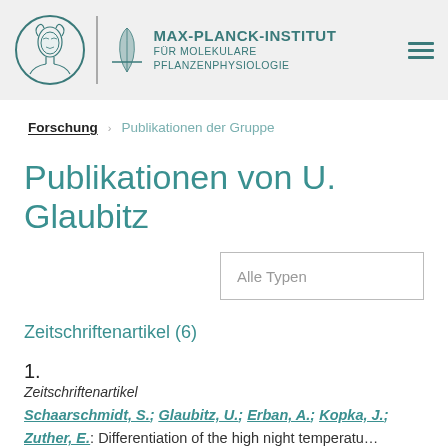MAX-PLANCK-INSTITUT FÜR MOLEKULARE PFLANZENPHYSIOLOGIE
Forschung   Publikationen der Gruppe
Publikationen von U. Glaubitz
Alle Typen
Zeitschriftenartikel (6)
1.
Zeitschriftenartikel
Schaarschmidt, S.; Glaubitz, U.; Erban, A.; Kopka, J.; Zuther, E.: Differentiation of the high night temperature